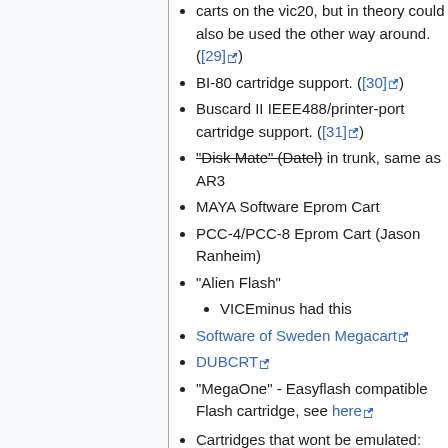carts on the vic20, but in theory could also be used the other way around. ([29])
BI-80 cartridge support. ([30])
Buscard II IEEE488/printer-port cartridge support. ([31])
"Disk Mate" (Datel) in trunk, same as AR3
MAYA Software Eprom Cart
PCC-4/PCC-8 Eprom Cart (Jason Ranheim)
"Alien Flash"
VICEminus had this
Software of Sweden Megacart
DUBCRT
"MegaOne" - Easyflash compatible Flash cartridge, see here
Cartridges that wont be emulated: